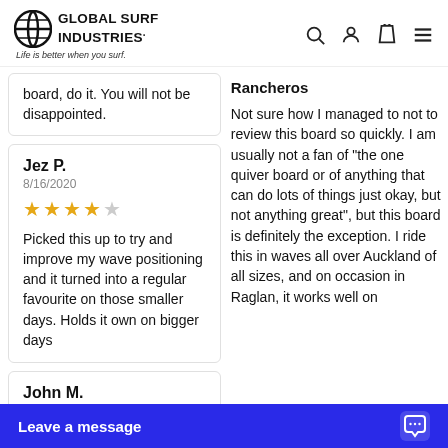[Figure (logo): Global Surf Industries logo with tagline 'Life is better when you surf.']
board, do it. You will not be disappointed.
Rancheros
Not sure how I managed to not to review this board so quickly. I am usually not a fan of "the one quiver board or of anything that can do lots of things just okay, but not anything great", but this board is definitely the exception. I ride this in waves all over Auckland of all sizes, and on occasion in Raglan, it works well on
Jez P.
8/16/2020
★★★★☆
Picked this up to try and improve my wave positioning and it turned into a regular favourite on those smaller days. Holds it own on bigger days
John M.
8/16/2020